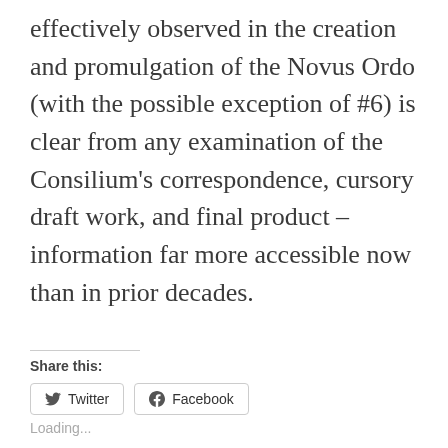effectively observed in the creation and promulgation of the Novus Ordo (with the possible exception of #6) is clear from any examination of the Consilium’s correspondence, cursory draft work, and final product – information far more accessible now than in prior decades.
Share this:
Twitter
Facebook
Loading...